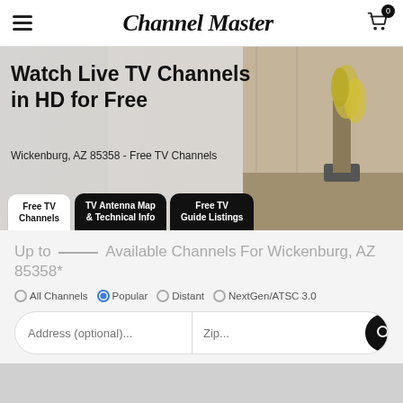Channel Master
[Figure (screenshot): Hero banner with text 'Watch Live TV Channels in HD for Free' and 'Wickenburg, AZ 85358 - Free TV Channels' over a blurred room background image with plant decoration on the right]
Watch Live TV Channels in HD for Free
Wickenburg, AZ 85358 - Free TV Channels
Free TV Channels | TV Antenna Map & Technical Info | Free TV Guide Listings
Up to Available Channels For Wickenburg, AZ 85358*
All Channels  Popular  Distant  NextGen/ATSC 3.0
Address (optional)... | Zip...